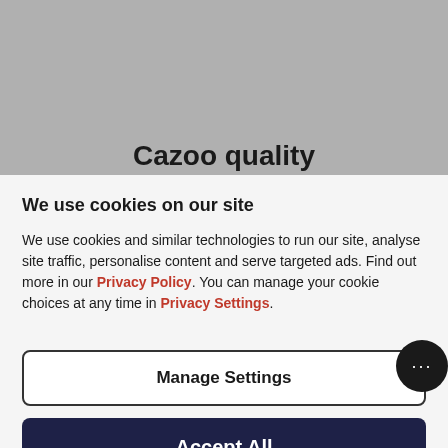[Figure (screenshot): Gray background area with partially visible Cazoo website heading 'Cazoo quality']
We use cookies on our site
We use cookies and similar technologies to run our site, analyse site traffic, personalise content and serve targeted ads. Find out more in our Privacy Policy. You can manage your cookie choices at any time in Privacy Settings.
Manage Settings
Accept All